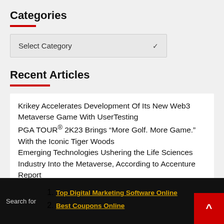Categories
Select Category
Recent Articles
Krikey Accelerates Development Of Its New Web3 Metaverse Game With UserTesting
PGA TOUR® 2K23 Brings “More Golf. More Game.” With the Iconic Tiger Woods
Emerging Technologies Ushering the Life Sciences Industry Into the Metaverse, According to Accenture Report
Search for
1. Top Digital Marketing Software Online
2. Best Coupons Online